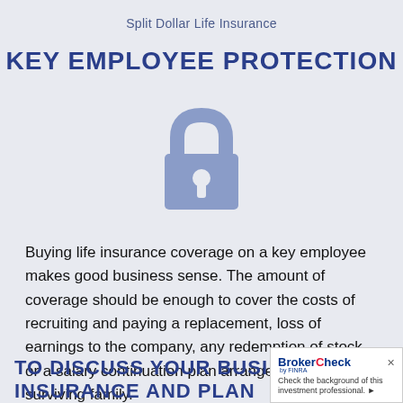Split Dollar Life Insurance
KEY EMPLOYEE PROTECTION
[Figure (illustration): A padlock icon in muted blue/periwinkle color, representing security and protection.]
Buying life insurance coverage on a key employee makes good business sense. The amount of coverage should be enough to cover the costs of recruiting and paying a replacement, loss of earnings to the company, any redemption of stock or a salary continuation plan arrangement with the surviving family.
TO DISCUSS YOUR BUSINESS INSURANCE AND PLANNING